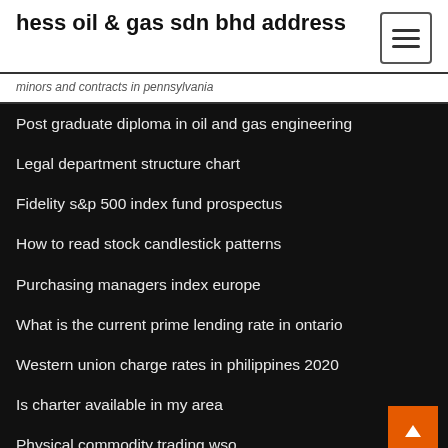hess oil & gas sdn bhd address
minors and contracts in pennsylvania
Post graduate diploma in oil and gas engineering
Legal department structure chart
Fidelity s&p 500 index fund prospectus
How to read stock candlestick patterns
Purchasing managers index europe
What is the current prime lending rate in ontario
Western union charge rates in philippines 2020
Is charter available in my area
Physical commodity trading wso
Gambling stocks us